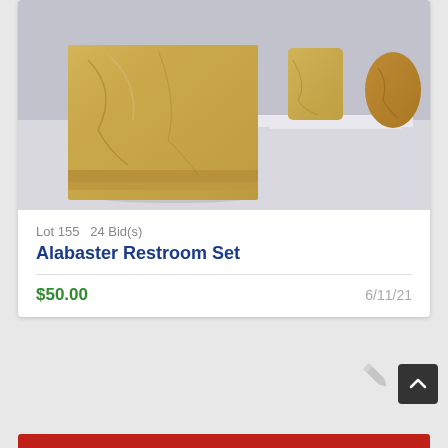[Figure (photo): Photograph of alabaster restroom set items: a square box-shaped piece, two cylindrical cups/vases on a white shelf, against a light gray background]
Lot 155   24 Bid(s)
Alabaster Restroom Set
$50.00
6/11/21